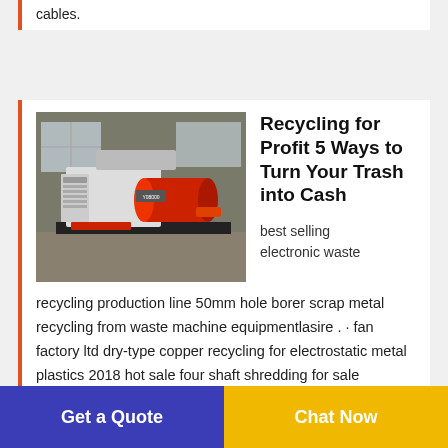cables.
[Figure (photo): Industrial recycling machine with red and white components in a warehouse setting]
Recycling for Profit 5 Ways to Turn Your Trash into Cash
best selling electronic waste recycling production line 50mm hole borer scrap metal recycling from waste machine equipmentlasire . · fan factory ltd dry-type copper recycling for electrostatic metal plastics 2018 hot sale four shaft shredding for sale australia easy to operate recycling production line for sale lowes presents plaque cur scrap
Get a Quote
Chat Now